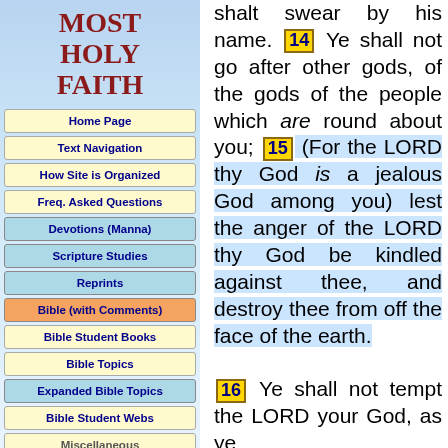MOST HOLY FAITH
Home Page
Text Navigation
How Site is Organized
Freq. Asked Questions
Devotions (Manna)
Scripture Studies
Reprints
Bible (with Comments)
Bible Student Books
Bible Topics
Expanded Bible Topics
Bible Student Webs
Miscellaneous
shalt swear by his name. 14 Ye shall not go after other gods, of the gods of the people which are round about you; 15 (For the LORD thy God is a jealous God among you) lest the anger of the LORD thy God be kindled against thee, and destroy thee from off the face of the earth. 16 Ye shall not tempt the LORD your God, as ye